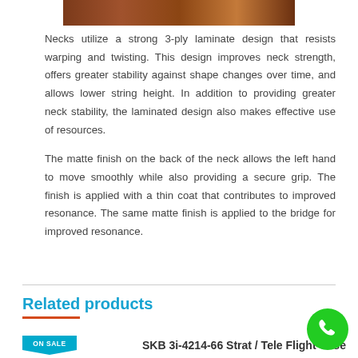[Figure (photo): Partial photo of a wooden guitar neck/body, cropped at top of page]
Necks utilize a strong 3-ply laminate design that resists warping and twisting. This design improves neck strength, offers greater stability against shape changes over time, and allows lower string height. In addition to providing greater neck stability, the laminated design also makes effective use of resources.
The matte finish on the back of the neck allows the left hand to move smoothly while also providing a secure grip. The finish is applied with a thin coat that contributes to improved resonance. The same matte finish is applied to the bridge for improved resonance.
Related products
SKB 3i-4214-66 Strat / Tele Flight Case